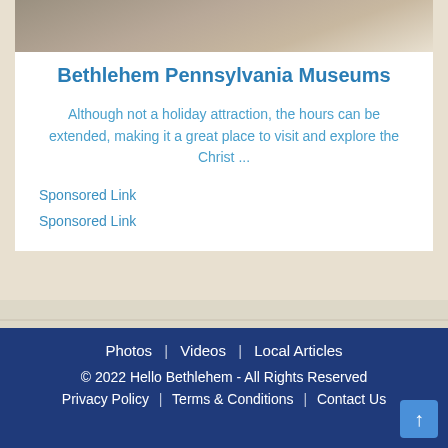[Figure (photo): Museum interior photo at top of card]
Bethlehem Pennsylvania Museums
Although not a holiday attraction, the hours can be extended, making it a great place to visit and explore the Christ ...
Sponsored Link
Sponsored Link
[Figure (map): Street map background of Bethlehem area with river]
Photos | Videos | Local Articles
© 2022 Hello Bethlehem - All Rights Reserved
Privacy Policy | Terms & Conditions | Contact Us